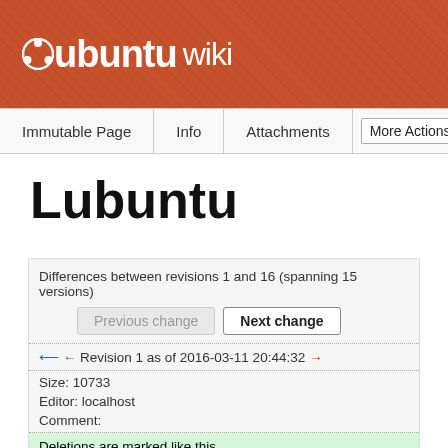[Figure (logo): Ubuntu Wiki logo with orange/brown textured header background, white Ubuntu text with circular logo mark and 'wiki' text]
Immutable Page | Info | Attachments | More Actions:
Lubuntu
Differences between revisions 1 and 16 (spanning 15 versions)
Previous change   Next change
← ← Revision 1 as of 2016-03-11 20:44:32 →
Size: 10733
Editor: localhost
Comment:
Deletions are marked like this.
Line 4:
Line 6: